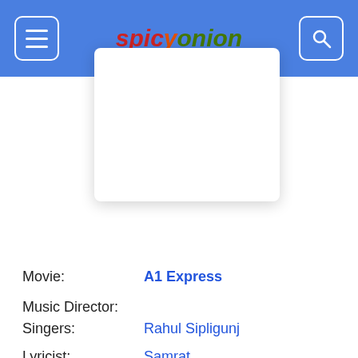SpicyOnion
[Figure (screenshot): White card overlay panel on top of the blue header bar]
Movie: A1 Express
Music Director:
Singers: Rahul Sipligunj
Lyricist: Samrat
[Figure (illustration): A large golden 3D star icon with shadow, representing a 1-star rating selection]
[Figure (infographic): A row of 10 empty/grey star icons for rating input]